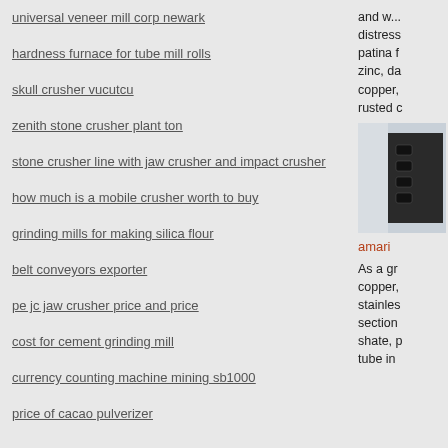universal veneer mill corp newark
hardness furnace for tube mill rolls
skull crusher vucutcu
zenith stone crusher plant ton
stone crusher line with jaw crusher and impact crusher
how much is a mobile crusher worth to buy
grinding mills for making silica flour
belt conveyors exporter
pe jc jaw crusher price and price
cost for cement grinding mill
currency counting machine mining sb1000
price of cacao pulverizer
and w... distress... patina f... zinc, da... copper,... rusted ...
[Figure (photo): Dark industrial panel with buttons or controls]
amari
As a gr... copper,... stainles... section... shate, p... tube in...